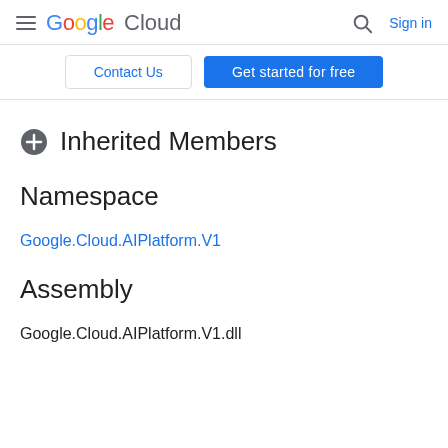Google Cloud — Search | Sign in
Contact Us | Get started for free
⊕ Inherited Members
Namespace
Google.Cloud.AIPlatform.V1
Assembly
Google.Cloud.AIPlatform.V1.dll